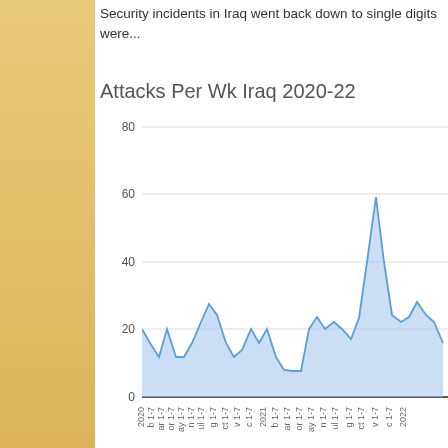Security incidents in Iraq went back down to single digits were...
[Figure (area-chart): Area chart showing weekly attacks in Iraq from 2020 to 2022, with a prominent spike to ~67 around mid-2020, and general range of 5-31 otherwise.]